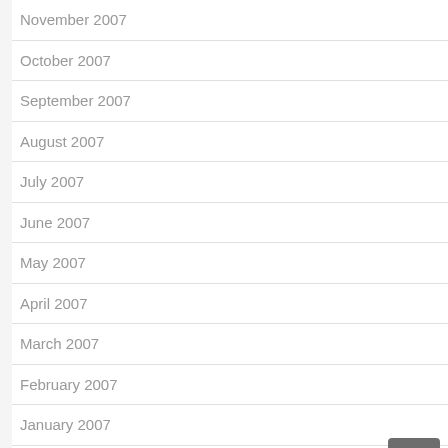November 2007
October 2007
September 2007
August 2007
July 2007
June 2007
May 2007
April 2007
March 2007
February 2007
January 2007
December 2006
November 2006
October 2006